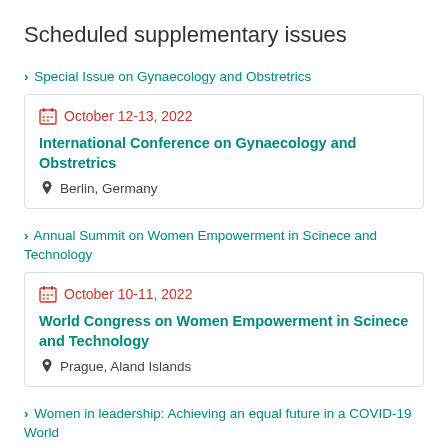Scheduled supplementary issues
> Special Issue on Gynaecology and Obstretrics
October 12-13, 2022
International Conference on Gynaecology and Obstretrics
Berlin, Germany
> Annual Summit on Women Empowerment in Scinece and Technology
October 10-11, 2022
World Congress on Women Empowerment in Scinece and Technology
Prague, Aland Islands
> Women in leadership: Achieving an equal future in a COVID-19 World
October 10-11, 2022